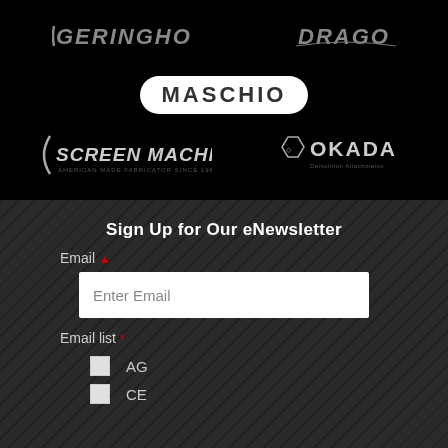[Figure (logo): Geringhoff logo on black background, grey italic text]
[Figure (logo): Drago logo on black background, grey italic text]
[Figure (logo): Maschio logo on black background, white rounded rectangle with bold uppercase text]
[Figure (logo): Screen Machine logo on black background, grey italic bold text with tagline]
[Figure (logo): Okada logo on black background, grey bold uppercase text with hexagon icon]
Sign Up for Our eNewsletter
Email *
Enter Email
Email list *
AG
CE